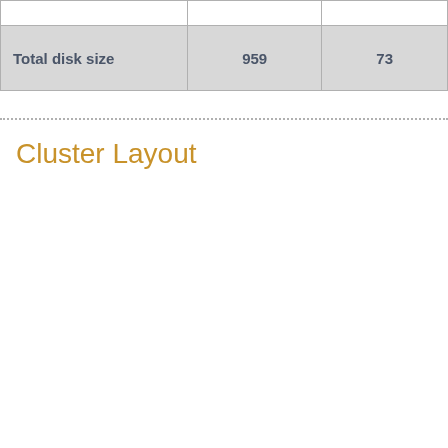|  |  |  |
| Total disk size | 959 | 73 |
Cluster Layout